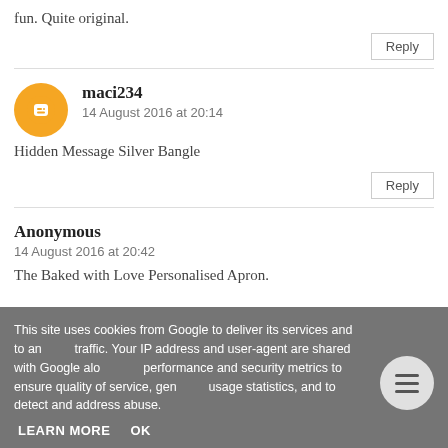fun. Quite original.
Reply
maci234
14 August 2016 at 20:14
Hidden Message Silver Bangle
Reply
Anonymous
14 August 2016 at 20:42
The Baked with Love Personalised Apron.
This site uses cookies from Google to deliver its services and to analyze traffic. Your IP address and user-agent are shared with Google along with performance and security metrics to ensure quality of service, generate usage statistics, and to detect and address abuse.
LEARN MORE
OK
Reply